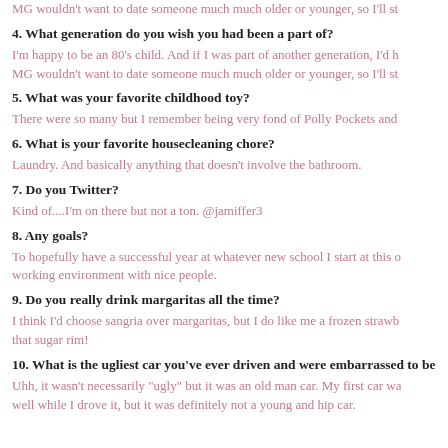MG wouldn't want to date someone much much older or younger, so I'll st
4. What generation do you wish you had been a part of?
I'm happy to be an 80's child. And if I was part of another generation, I'd h MG wouldn't want to date someone much much older or younger, so I'll st
5. What was your favorite childhood toy?
There were so many but I remember being very fond of Polly Pockets and
6. What is your favorite housecleaning chore?
Laundry. And basically anything that doesn't involve the bathroom.
7. Do you Twitter?
Kind of....I'm on there but not a ton. @jamiffer3
8. Any goals?
To hopefully have a successful year at whatever new school I start at this o working environment with nice people.
9. Do you really drink margaritas all the time?
I think I'd choose sangria over margaritas, but I do like me a frozen strawb that sugar rim!
10. What is the ugliest car you've ever driven and were embarrassed to be
Uhh, it wasn't necessarily "ugly" but it was an old man car. My first car wa well while I drove it, but it was definitely not a young and hip car.